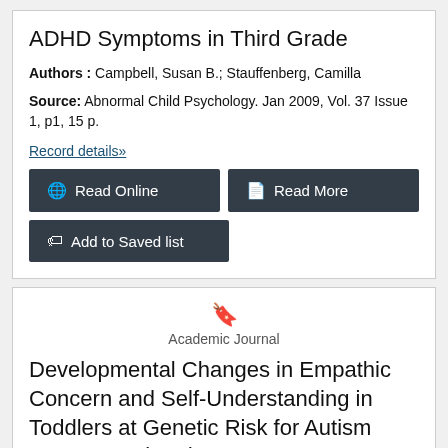ADHD Symptoms in Third Grade
Authors : Campbell, Susan B.; Stauffenberg, Camilla
Source: Abnormal Child Psychology. Jan 2009, Vol. 37 Issue 1, p1, 15 p.
Record details»
Read Online
Read More
Add to Saved list
Academic Journal
Developmental Changes in Empathic Concern and Self-Understanding in Toddlers at Genetic Risk for Autism Spectrum Disorder